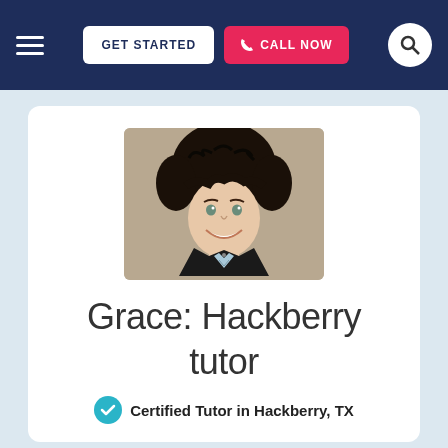GET STARTED | CALL NOW
[Figure (photo): Profile photo of Grace, a tutor with curly dark hair, smiling, wearing a black collar shirt with a patterned scarf]
Grace: Hackberry tutor
Certified Tutor in Hackberry, TX